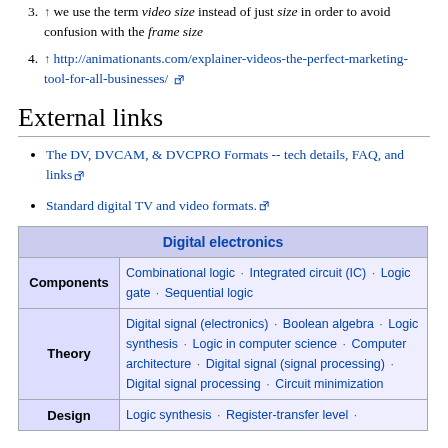3. ↑ we use the term video size instead of just size in order to avoid confusion with the frame size
4. ↑ http://animationants.com/explainer-videos-the-perfect-marketing-tool-for-all-businesses/
External links
The DV, DVCAM, & DVCPRO Formats -- tech details, FAQ, and links
Standard digital TV and video formats.
| Digital electronics |
| --- |
| Components | Combinational logic · Integrated circuit (IC) · Logic gate · Sequential logic |
| Theory | Digital signal (electronics) · Boolean algebra · Logic synthesis · Logic in computer science · Computer architecture · Digital signal (signal processing) · Digital signal processing · Circuit minimization |
| Design | Logic synthesis · Register-transfer level · ... |